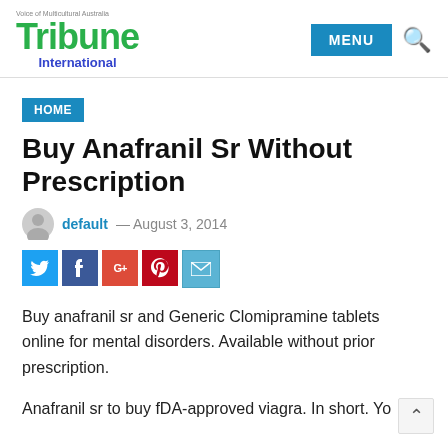Tribune International — Voice of Multicultural Australia
HOME
Buy Anafranil Sr Without Prescription
default — August 3, 2014
[Figure (infographic): Social sharing buttons: Twitter, Facebook, Google+, Pinterest, Email]
Buy anafranil sr and Generic Clomipramine tablets online for mental disorders. Available without prior prescription.
Anafranil sr to buy fDA-approved viagra. In short. Yo